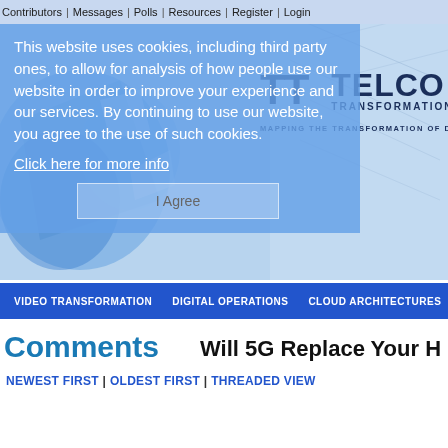Contributors | Messages | Polls | Resources | Register | Login
This website uses cookies, including third party ones, to allow for analysis of how people use our website in order to improve your experience and our services. By continuing to use our website, you agree to the use of such cookies.
Click here for more info
I Agree
[Figure (logo): Telco Transformation logo with TT letters and vertical divider, text TELCO TRANSFORMATION and MAPPING THE TRANSFORMATION OF DIGITAL]
VIDEO TRANSFORMATION | DIGITAL OPERATIONS | CLOUD ARCHITECTURES
Comments
Will 5G Replace Your H
NEWEST FIRST | OLDEST FIRST | THREADED VIEW